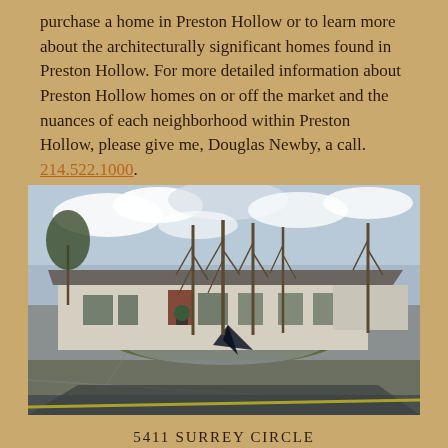purchase a home in Preston Hollow or to learn more about the architecturally significant homes found in Preston Hollow. For more detailed information about Preston Hollow homes on or off the market and the nuances of each neighborhood within Preston Hollow, please give me, Douglas Newby, a call. 214.522.1000.
[Figure (photo): Exterior photograph of a large low-profile modern home with circular driveway, tall bare trees, and a dark angular sculpture in the foreground.]
5411 Surrey Circle